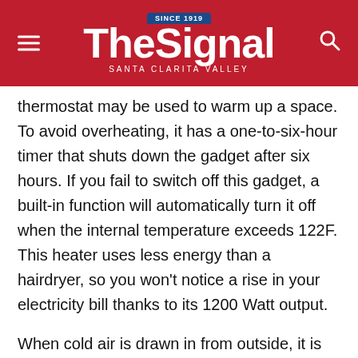The Signal — Santa Clarita Valley (Since 1919)
thermostat may be used to warm up a space. To avoid overheating, it has a one-to-six-hour timer that shuts down the gadget after six hours. If you fail to switch off this gadget, a built-in function will automatically turn it off when the internal temperature exceeds 122F. This heater uses less energy than a hairdryer, so you won’t notice a rise in your electricity bill thanks to its 1200 Watt output.
When cold air is drawn in from outside, it is warmed by an internal radiator and then blown into the private areas by a fan. For effective heating, it allows